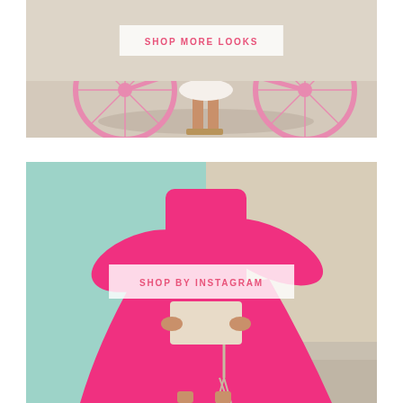[Figure (photo): Woman standing next to a pink bicycle on a sunny day, wearing sandals and a white skirt, shadow visible on pavement]
SHOP MORE LOOKS
[Figure (photo): Woman in a bright pink bell-sleeve mini dress holding a beige clutch with tassel, standing in front of a mint-colored wall]
SHOP BY INSTAGRAM